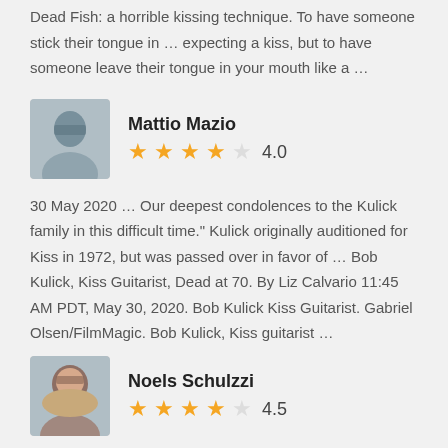Dead Fish: a horrible kissing technique. To have someone stick their tongue in … expecting a kiss, but to have someone leave their tongue in your mouth like a …
Mattio Mazio — 4.0 stars
30 May 2020 … Our deepest condolences to the Kulick family in this difficult time." Kulick originally auditioned for Kiss in 1972, but was passed over in favor of … Bob Kulick, Kiss Guitarist, Dead at 70. By Liz Calvario 11:45 AM PDT, May 30, 2020. Bob Kulick Kiss Guitarist. Gabriel Olsen/FilmMagic. Bob Kulick, Kiss guitarist …
Noels Schulzzi — 4.5 stars
Living Dead Dolls Kiss of Death Kissing Booth Grim Reaper - Mezco - NEW SEALED!!. Condition is "New". Shipped with